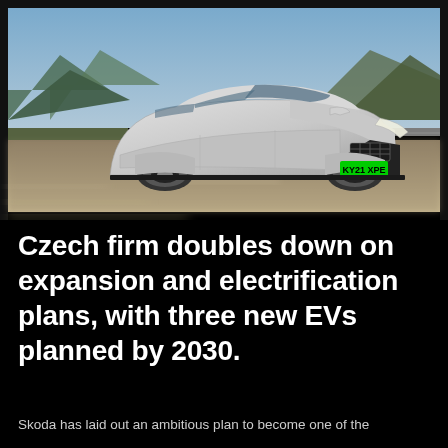[Figure (photo): A silver Skoda electric vehicle (registration KY21 XPE) driving on a road with mountains in the background, motion blur on road and background suggesting high speed.]
Czech firm doubles down on expansion and electrification plans, with three new EVs planned by 2030.
Skoda has laid out an ambitious plan to become one of the